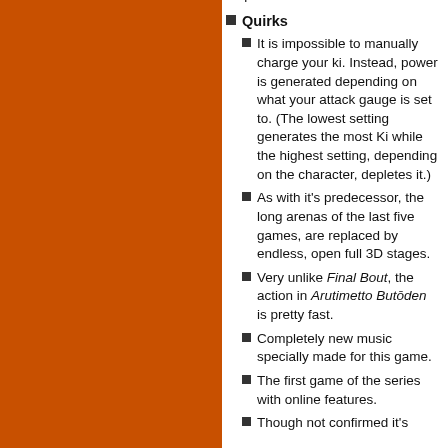super attacks.
Quirks
It is impossible to manually charge your ki. Instead, power is generated depending on what your attack gauge is set to. (The lowest setting generates the most Ki while the highest setting, depending on the character, depletes it.)
As with it's predecessor, the long arenas of the last five games, are replaced by endless, open full 3D stages.
Very unlike Final Bout, the action in Arutimetto Butōden is pretty fast.
Completely new music specially made for this game.
The first game of the series with online features.
Though not confirmed it's